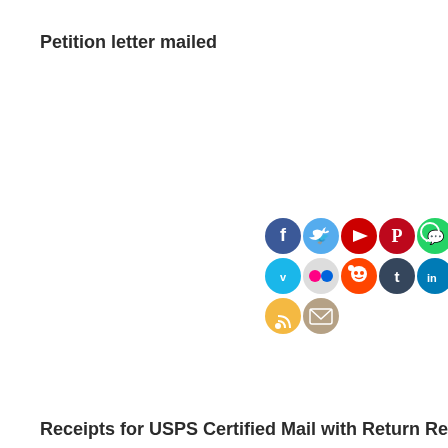Petition letter mailed
[Figure (infographic): Social media sharing icons in two rows: Facebook, Twitter, YouTube, Pinterest, WhatsApp (top row); Vimeo, Flickr, Reddit, Tumblr, LinkedIn (second row); RSS, Email (third row)]
Receipts for USPS Certified Mail with Return Receip